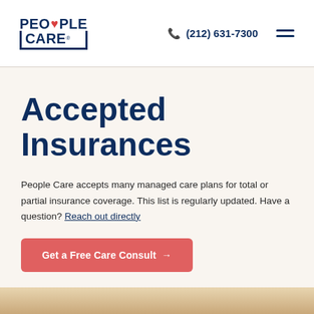PEOPLE CARE | (212) 631-7300
Accepted Insurances
People Care accepts many managed care plans for total or partial insurance coverage. This list is regularly updated. Have a question? Reach out directly
Get a Free Care Consult →
[Figure (photo): Bottom edge of a photograph showing a person, partially visible, with warm skin tones]